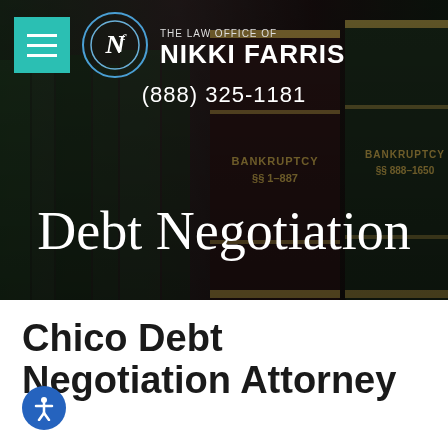[Figure (screenshot): Hero image of law books (bankruptcy volumes) on a dark bookshelf, with overlay navigation bar, phone number, and page title 'Debt Negotiation']
THE LAW OFFICE OF NIKKI FARRIS
(888) 325-1181
Debt Negotiation
Chico Debt Negotiation Attorney